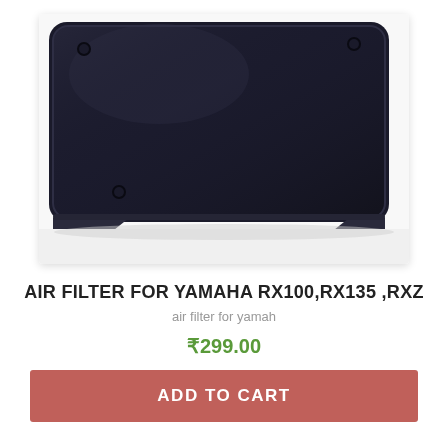[Figure (photo): Close-up photo of a black foam air filter for Yamaha motorcycles, rectangular shape with rounded corners and mounting holes, shown against a white background.]
AIR FILTER FOR YAMAHA RX100,RX135 ,RXZ
air filter for yamah
₹299.00
ADD TO CART